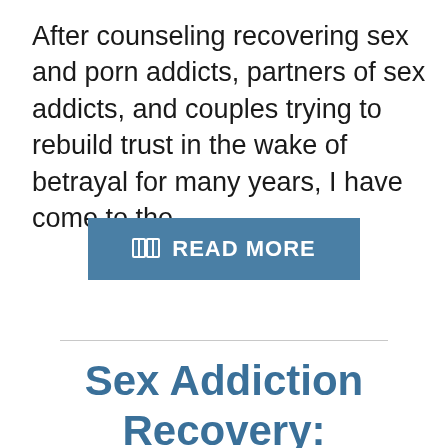After counseling recovering sex and porn addicts, partners of sex addicts, and couples trying to rebuild trust in the wake of betrayal for many years, I have come to the...
[Figure (other): A blue rectangular button with a book icon and the text READ MORE in white bold letters]
Sex Addiction Recovery: Navigating Your Partner's Valentine Boundaries